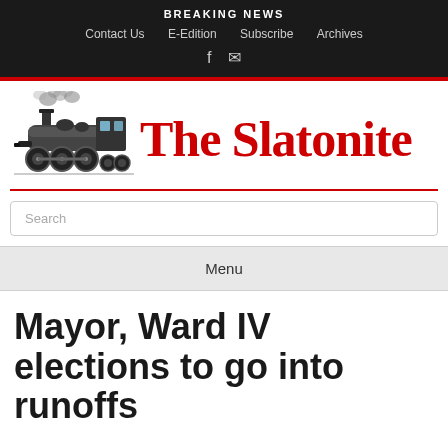BREAKING NEWS
Contact Us   E-Edition   Subscribe   Archives
[Figure (logo): The Slatonite newspaper logo with steam locomotive illustration and red serif text]
Search
Menu
Mayor, Ward IV elections to go into runoffs